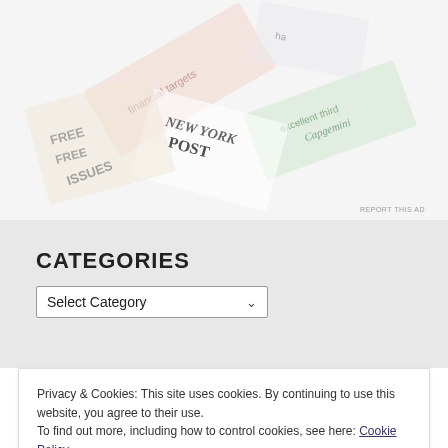[Figure (illustration): Faded collage of overlapping paper cards/tickets with various text fragments including 'NEW YORK POST', 'FREE ISSUES', 'financial targets', 'excellent third', 'Capgemini', and a 'REPORT THIS AD' link at the bottom right.]
CATEGORIES
Select Category
Privacy & Cookies: This site uses cookies. By continuing to use this website, you agree to their use.
To find out more, including how to control cookies, see here: Cookie Policy
Close and accept